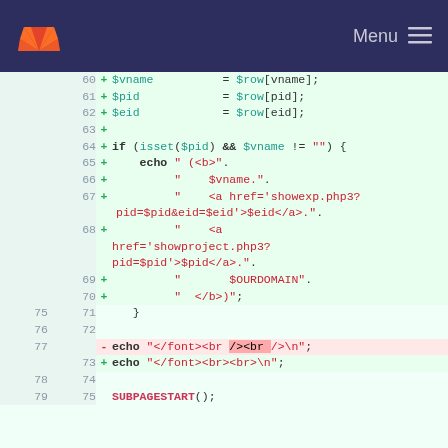Menu
[Figure (screenshot): GitLab code diff view showing PHP code changes, lines 60-75, with additions in green and deletions in red.]